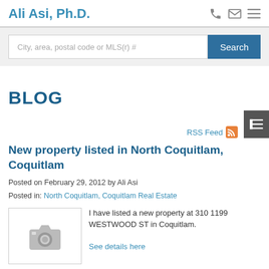Ali Asi, Ph.D.
City, area, postal code or MLS(r) #
BLOG
RSS Feed
New property listed in North Coquitlam, Coquitlam
Posted on February 29, 2012 by Ali Asi
Posted in: North Coquitlam, Coquitlam Real Estate
[Figure (photo): Placeholder camera icon image for property listing]
I have listed a new property at 310 1199 WESTWOOD ST in Coquitlam.

See details here